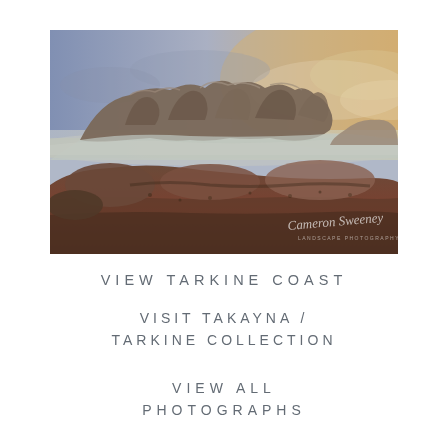[Figure (photo): Landscape photograph of the Tarkine Coast coastline at dusk/dawn. Rocky coastal scene with large reddish-brown granite boulders in the foreground, calm misty water in the middle ground, and a warm golden sky on the right transitioning to a blue-grey sky on the left. Watermark reading 'Cameron Sweeney LANDSCAPE PHOTOGRAPHY' in the bottom right corner.]
VIEW TARKINE COAST
VISIT TAKAYNA / TARKINE COLLECTION
VIEW ALL PHOTOGRAPHS